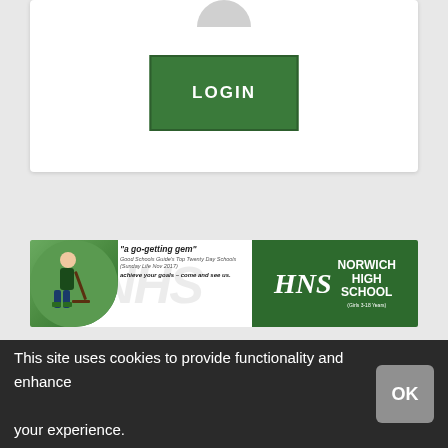[Figure (screenshot): Login card with avatar placeholder at top and green LOGIN button in center]
LOGIN
[Figure (illustration): Norwich High School advertisement banner. Left side shows girl playing field hockey with quote 'a go-getting gem' from Good Schools Guide's Top Twenty Day Schools. Right side shows NHS logo and school name on green background. Girls 3-18 Years.]
This site uses cookies to provide functionality and enhance your experience.